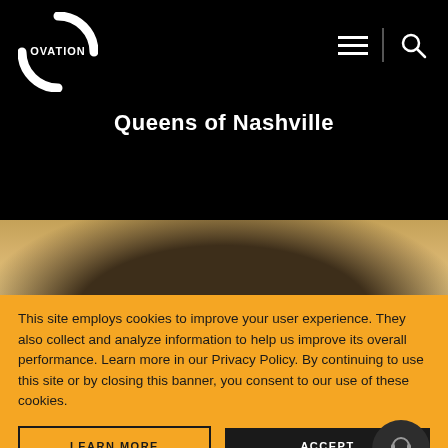[Figure (logo): Ovation TV logo — white circle with OVATION text in center]
[Figure (other): Hamburger menu icon and search/magnify icon in white, separated by vertical divider]
Queens of Nashville
[Figure (photo): Partial top of a woman's head with hair, warm golden-brown tones]
This site employs cookies to improve your user experience. They also collect and analyze information to help us improve its overall performance. Learn more in our Privacy Policy. By continuing to use this site or by closing this banner, you consent to our use of these cookies.
[Figure (other): LEARN MORE button with black border on orange background]
[Figure (other): ACCEPT button with black background and white text]
[Figure (other): Dark circular chat/support button with headset icon]